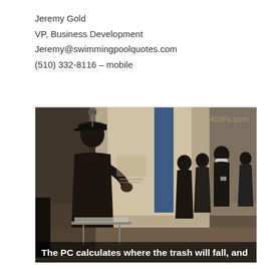Jeremy Gold
VP, Business Development
Jeremy@swimmingpoolquotes.com
(510) 332-8116 – mobile
[Figure (photo): Black and white / sepia-toned photo of people in what appears to be a museum or exhibition hall. A person in a suit and cap stands on the left balancing something on their head. Several other people in dark clothing are visible in the background. A blue panel/pillar is visible in the center. A watermark '4GIFs.com' appears in the top right. A subtitle reads 'The PC calculates where the trash will fall, and']